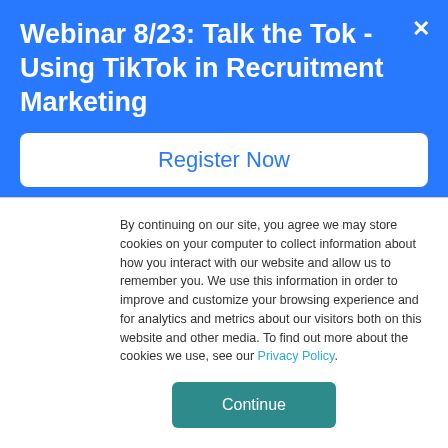Webinar 8/23: Talk the Tok - Using TikTok in Recruitment Marketing
Register Now
market saturation has been reached. Job boards operate off an auction model where multiple people bid on specific keyword terms on a CPC (or CPA) basis, and the highest bidder in the auction pays the PPC of the second-highest bidder. While
By continuing on our site, you agree we may store cookies on your computer to collect information about how you interact with our website and allow us to remember you. We use this information in order to improve and customize your browsing experience and for analytics and metrics about our visitors both on this website and other media. To find out more about the cookies we use, see our Privacy Policy.
Continue